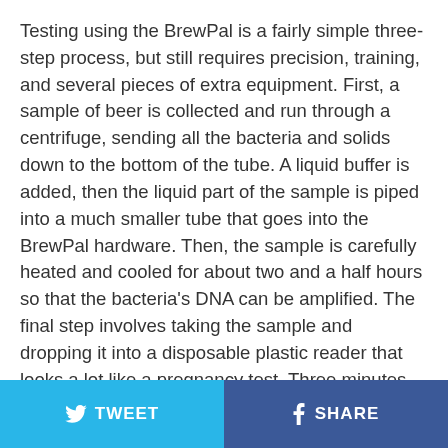Testing using the BrewPal is a fairly simple three-step process, but still requires precision, training, and several pieces of extra equipment. First, a sample of beer is collected and run through a centrifuge, sending all the bacteria and solids down to the bottom of the tube. A liquid buffer is added, then the liquid part of the sample is piped into a much smaller tube that goes into the BrewPal hardware. Then, the sample is carefully heated and cooled for about two and a half hours so that the bacteria's DNA can be amplified. The final step involves taking the sample and dropping it into a disposable plastic reader that looks a lot like a pregnancy test. Three minutes later, you can see if you've got the bacteria there, or you don't. The
TWEET  SHARE